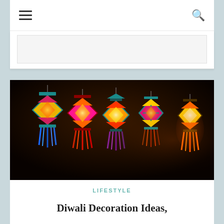Navigation bar with hamburger menu and search icon
[Figure (other): Advertisement banner placeholder]
[Figure (photo): Colorful Diwali lanterns (kandils) hanging against a dark background. Five decorative lanterns with geometric diamond patterns in pink, yellow, orange, and teal colors with tassels hanging below, illuminated from within.]
LIFESTYLE
Diwali Decoration Ideas,